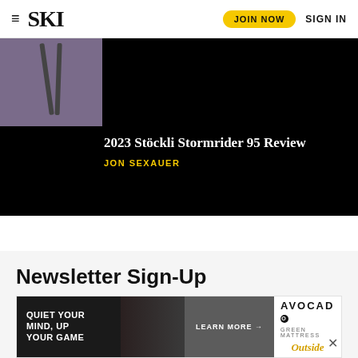SKI | JOIN NOW | SIGN IN
[Figure (photo): Dark hero image with purple top-left section showing ski poles, article title and author overlay on black background]
2023 Stöckli Stormrider 95 Review
JON SEXAUER
Newsletter Sign-Up
Sign up for the latest news, stories, reviews, and special offers from Ski Mag and
[Figure (screenshot): Advertisement banner: QUIET YOUR MIND, UP YOUR GAME | LEARN MORE → | AVOCADO GREEN MATTRESS | Outside logo]